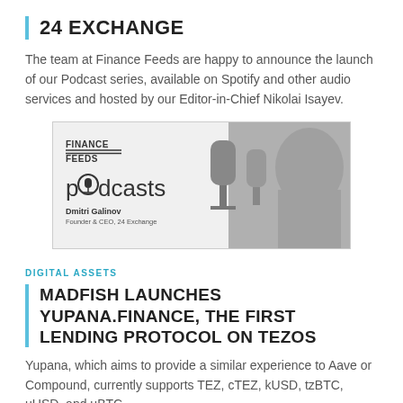24 EXCHANGE
The team at Finance Feeds are happy to announce the launch of our Podcast series, available on Spotify and other audio services and hosted by our Editor-in-Chief Nikolai Isayev.
[Figure (illustration): Finance Feeds Podcasts banner featuring Dmitri Galinov, Founder & CEO, 24 Exchange. Shows the Finance Feeds logo, the word 'podcasts' with a microphone icon, and a black and white photo of a child shouting into a microphone.]
DIGITAL ASSETS
MADFISH LAUNCHES YUPANA.FINANCE, THE FIRST LENDING PROTOCOL ON TEZOS
Yupana, which aims to provide a similar experience to Aave or Compound, currently supports TEZ, cTEZ, kUSD, tzBTC, uUSD, and uBTC.